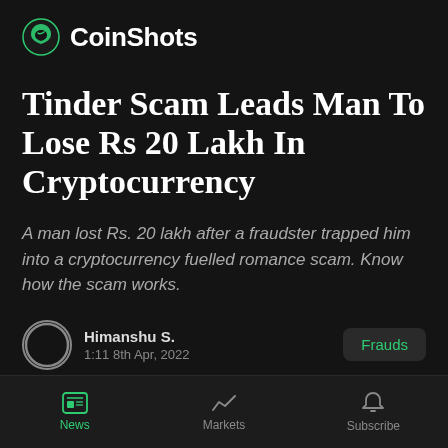CoinShots
Tinder Scam Leads Man To Lose Rs 20 Lakh In Cryptocurrency
A man lost Rs. 20 lakh after a fraudster trapped him into a cryptocurrency fuelled romance scam. Know how the scam works.
Himanshu S.
1:11 8th Apr, 2022
News | Markets | Subscribe